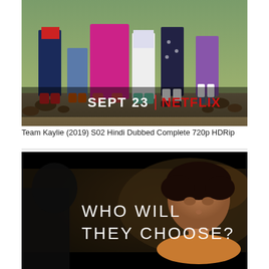[Figure (photo): Netflix promotional poster for Team Kaylie showing group of teens from waist down standing outdoors with pine cones, text 'SEPT 23 | NETFLIX' overlaid]
Team Kaylie (2019) S02 Hindi Dubbed Complete 720p HDRip
[Figure (screenshot): Scene from Team Kaylie showing a young woman with text overlay 'WHO WILL THEY CHOOSE?' in white letters on dark background]